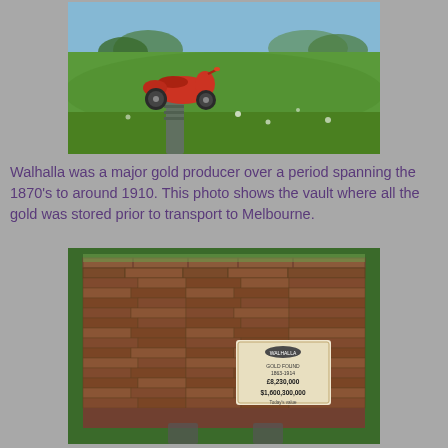[Figure (photo): Red vintage scooter/Vespa ornament on a post in a green field landscape with rolling hills and blue sky in background]
Walhalla was a major gold producer over a period spanning the 1870's to around 1910. This photo shows the vault where all the gold was stored prior to transport to Melbourne.
[Figure (photo): Close-up of an old stone/brick wall ruin with a sign showing gold production figures: $8,230,000 and $1,600,300,000]